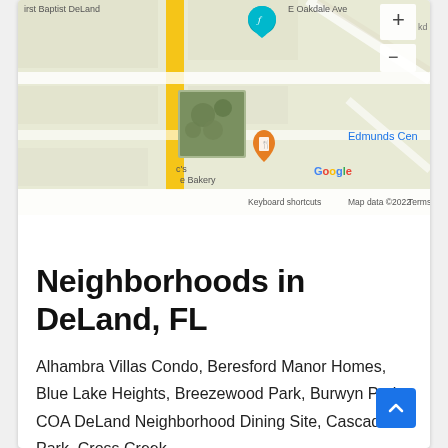[Figure (screenshot): Google Maps screenshot showing a street map of DeLand area with map controls (+ and - buttons), Google logo, 'Edmunds Cen' label, restaurant pin, street view thumbnail, and footer text: 'Keyboard shortcuts  Map data ©2022  Terms of Use']
Neighborhoods in DeLand, FL
Alhambra Villas Condo, Beresford Manor Homes, Blue Lake Heights, Breezewood Park, Burwyn Park, COA DeLand Neighborhood Dining Site, Cascades Park, Cross Creek,